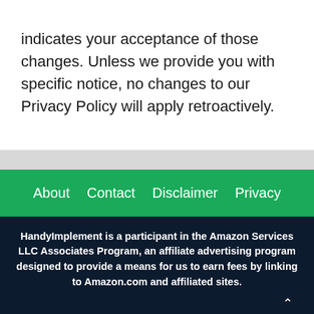indicates your acceptance of those changes. Unless we provide you with specific notice, no changes to our Privacy Policy will apply retroactively.
About   Contact   Disclaimer   Privacy
HandyImplement is a participant in the Amazon Services LLC Associates Program, an affiliate advertising program designed to provide a means for us to earn fees by linking to Amazon.com and affiliated sites.
© 2022 Handy Implement • Built with Generat… ss